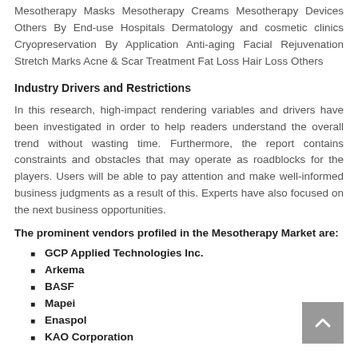Mesotherapy Masks Mesotherapy Creams Mesotherapy Devices Others By End-use Hospitals Dermatology and cosmetic clinics Cryopreservation By Application Anti-aging Facial Rejuvenation Stretch Marks Acne & Scar Treatment Fat Loss Hair Loss Others
Industry Drivers and Restrictions
In this research, high-impact rendering variables and drivers have been investigated in order to help readers understand the overall trend without wasting time. Furthermore, the report contains constraints and obstacles that may operate as roadblocks for the players. Users will be able to pay attention and make well-informed business judgments as a result of this. Experts have also focused on the next business opportunities.
The prominent vendors profiled in the Mesotherapy Market are:
GCP Applied Technologies Inc.
Arkema
BASF
Mapei
Enaspol
KAO Corporation